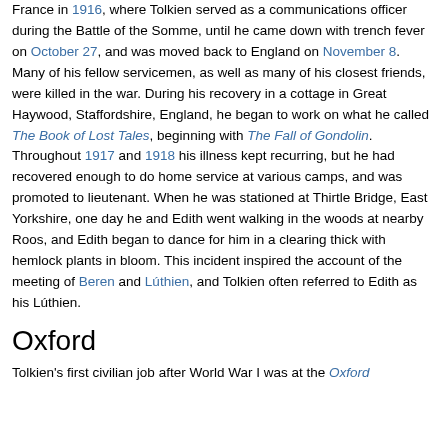France in 1916, where Tolkien served as a communications officer during the Battle of the Somme, until he came down with trench fever on October 27, and was moved back to England on November 8. Many of his fellow servicemen, as well as many of his closest friends, were killed in the war. During his recovery in a cottage in Great Haywood, Staffordshire, England, he began to work on what he called The Book of Lost Tales, beginning with The Fall of Gondolin. Throughout 1917 and 1918 his illness kept recurring, but he had recovered enough to do home service at various camps, and was promoted to lieutenant. When he was stationed at Thirtle Bridge, East Yorkshire, one day he and Edith went walking in the woods at nearby Roos, and Edith began to dance for him in a clearing thick with hemlock plants in bloom. This incident inspired the account of the meeting of Beren and Lúthien, and Tolkien often referred to Edith as his Lúthien.
Oxford
Tolkien's first civilian job after World War I was at the Oxford